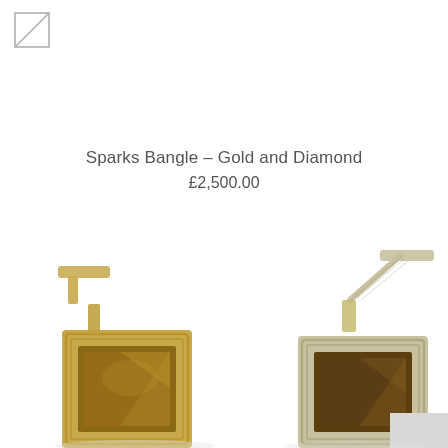[Figure (logo): Small square logo with diagonal line, top-left corner]
Sparks Bangle – Gold and Diamond
£2,500.00
[Figure (photo): Two gold cufflinks with square tiger's eye stone insets and T-bar toggles, photographed on white background]